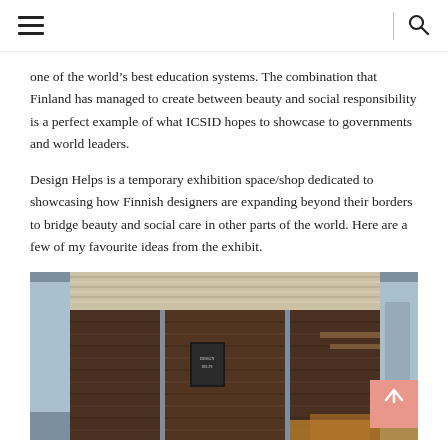[hamburger menu] | [search icon]
one of the world's best education systems. The combination that Finland has managed to create between beauty and social responsibility is a perfect example of what ICSID hopes to showcase to governments and world leaders.
Design Helps is a temporary exhibition space/shop dedicated to showcasing how Finnish designers are expanding beyond their borders to bridge beauty and social care in other parts of the world. Here are a few of my favourite ideas from the exhibit.
[Figure (photo): Interior photo of a rustic wooden exhibition structure with corrugated metal roof, dark wood plank walls, and warm ambient lighting. A small sign is visible on one of the panels.]